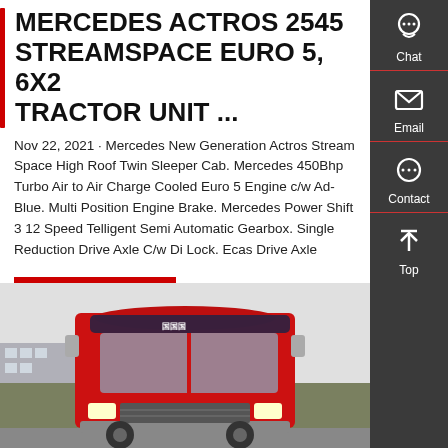MERCEDES ACTROS 2545 STREAMSPACE EURO 5, 6X2 TRACTOR UNIT ...
Nov 22, 2021 · Mercedes New Generation Actros Stream Space High Roof Twin Sleeper Cab. Mercedes 450Bhp Turbo Air to Air Charge Cooled Euro 5 Engine c/w Ad-Blue. Multi Position Engine Brake. Mercedes Power Shift 3 12 Speed Telligent Semi Automatic Gearbox. Single Reduction Drive Axle C/w Di Lock. Ecas Drive Axle
[Figure (screenshot): Red Mercedes Actros truck cab front view in a yard with buildings in background]